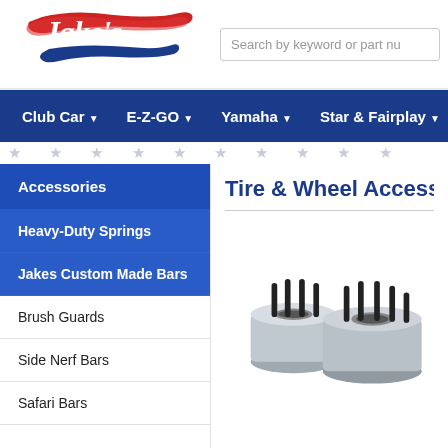[Figure (logo): Jake's golf cart parts logo with red brushstroke background and cursive text]
Search by keyword or part nu
Club Car
E-Z-GO
Yamaha
Star & Fairplay
Accessories
Heavy-Duty Springs
Jakes Custom Made Bars
Brush Guards
Side Nerf Bars
Safari Bars
Tire & Wheel Accessories
[Figure (photo): Metal wheel spacer/hub adapters for golf carts, cylindrical chrome/silver components with black bolts]